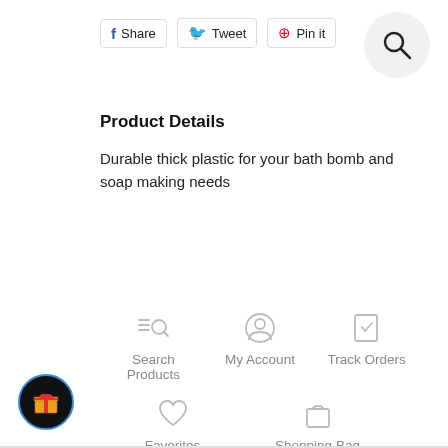[Figure (infographic): Social share buttons: Facebook Share, Twitter Tweet, Pinterest Pin it]
[Figure (infographic): Search magnifying glass icon in a gray circle]
Product Details
Durable thick plastic for your bath bomb and soap making needs
[Figure (infographic): Navigation icons grid: Search Products, My Account, Track Orders, Favorites, Shopping Bag]
[Figure (infographic): Black circle button with gift icon at bottom left]